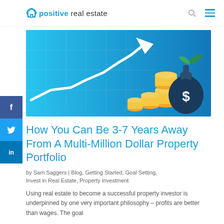positive real estate
[Figure (illustration): Blue background financial illustration showing an upward trending line chart with white arrow, gold coin stacks, and a dark blue money bag with dollar sign]
How You Can Be 3-7 Years Away From A Multi-Million Dollar Property Portfolio
by Sam Saggers | Blog, Getting Started, Goal Setting, Invest in Real Estate, Property Investment
Using real estate to become a successful property investor is underpinned by one very important philosophy – profits are better than wages. The goal